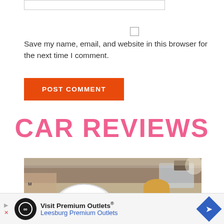[input field]
Save my name, email, and website in this browser for the next time I comment.
POST COMMENT
CAR REVIEWS
[Figure (photo): Interior view of a racing car with a driver wearing a white helmet in the foreground and a woman with blonde hair visible in the passenger seat. A banner with text is visible on the left.]
Visit Premium Outlets® Leesburg Premium Outlets